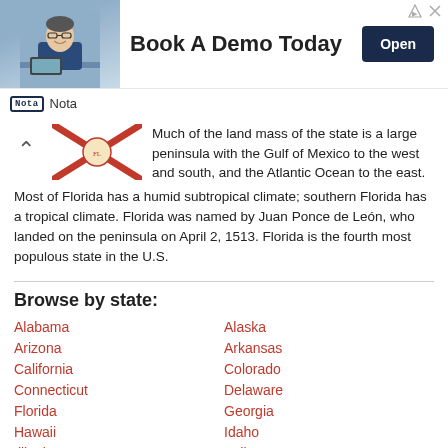[Figure (illustration): Advertisement banner: photo of man in glasses at desk, text 'Book A Demo Today', Open button, Nota logo]
Much of the land mass of the state is a large peninsula with the Gulf of Mexico to the west and south, and the Atlantic Ocean to the east. Most of Florida has a humid subtropical climate; southern Florida has a tropical climate. Florida was named by Juan Ponce de León, who landed on the peninsula on April 2, 1513. Florida is the fourth most populous state in the U.S.
Browse by state:
Alabama
Alaska
Arizona
Arkansas
California
Colorado
Connecticut
Delaware
Florida
Georgia
Hawaii
Idaho
Illinois
Indiana
Iowa
Kansas